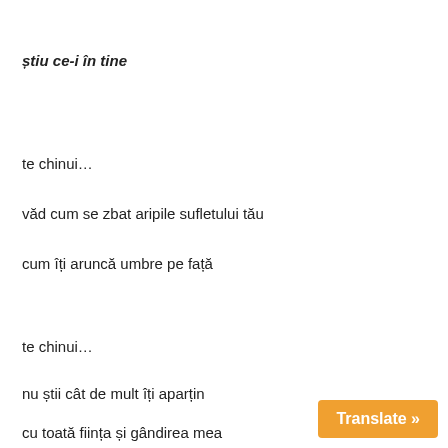știu ce-i în tine
te chinui…
văd cum se zbat aripile sufletului tău
cum îți aruncă umbre pe față
te chinui…
nu știi cât de mult îți aparțin
cu toată ființa și gândirea mea